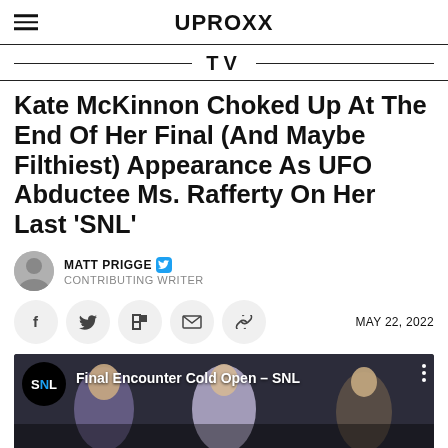UPROXX
TV
Kate McKinnon Choked Up At The End Of Her Final (And Maybe Filthiest) Appearance As UFO Abductee Ms. Rafferty On Her Last 'SNL'
MATT PRIGGE · CONTRIBUTING WRITER
MAY 22, 2022
[Figure (screenshot): Video thumbnail showing SNL Final Encounter Cold Open with three women seated on a panel stage with SNL logo badge.]